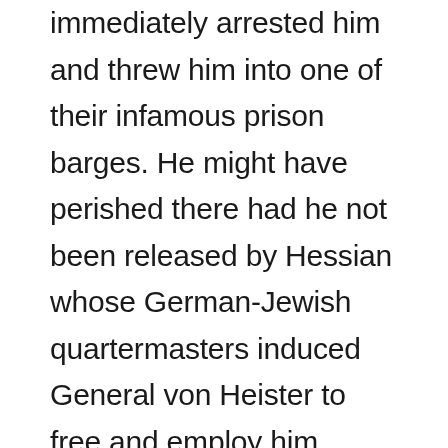immediately arrested him and threw him into one of their infamous prison barges. He might have perished there had he not been released by Hessian whose German-Jewish quartermasters induced General von Heister to free and employ him. Salomon agreed to work for them, but continued to operate underground as an American agent inducing Hessian officers to resign and helping American prisoners to escape. Unfortunately, the eventually discovered him and he was